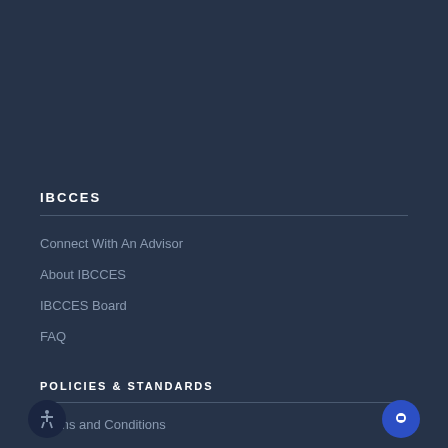IBCCES
Connect With An Advisor
About IBCCES
IBCCES Board
FAQ
POLICIES & STANDARDS
Terms and Conditions